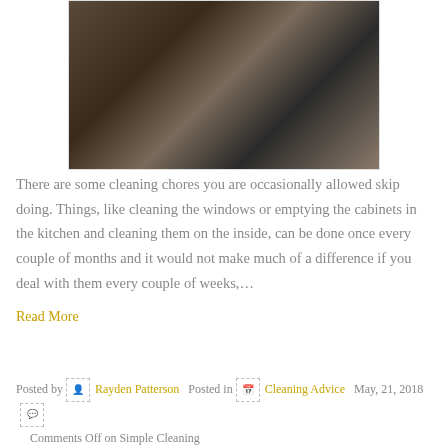[Figure (photo): Close-up photo of a vacuum cleaner head on a wooden floor surface, dark metallic tones with wood grain visible]
There are some cleaning chores you are occasionally allowed skip doing. Things, like cleaning the windows or emptying the cabinets in the kitchen and cleaning them on the inside, can be done once every couple of months and it would not make much of a difference if you deal with them every couple of weeks,…
Read More
Posted by Rayden Patterson Posted in Cleaning Advice May, 21, 2018 Comments Off on Simple Cleaning